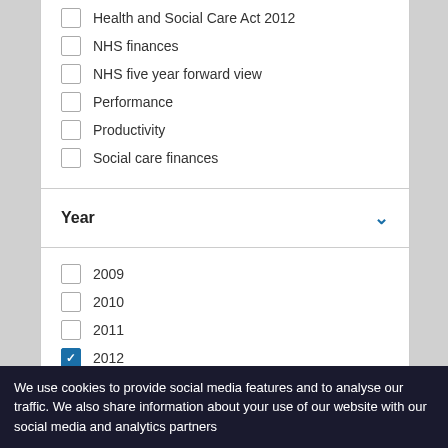Health and Social Care Act 2012
NHS finances
NHS five year forward view
Performance
Productivity
Social care finances
Year
2009
2010
2011
2012 (checked)
2013
2014
2015
2016
We use cookies to provide social media features and to analyse our traffic. We also share information about your use of our website with our social media and analytics partners